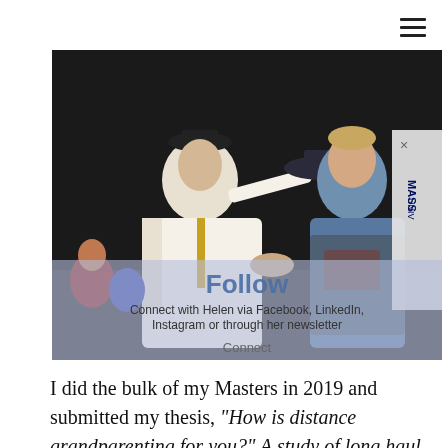[Figure (photo): Graduation ceremony photo: a person in academic robes placing a mortarboard hat on a smiling woman in a blue gown, shaking hands on stage. A Massey University banner is visible in the background. An overlay popup shows 'Follow' with text: 'Connect with Helen via Facebook, LinkedIn, Instagram or through her newsletter' and a 'Connect' button.]
I did the bulk of my Masters in 2019 and submitted my thesis, "How is distance grandparenting for you?" A study of long haul, New Zealand distance grandparents and inter-generational transnational familying in April